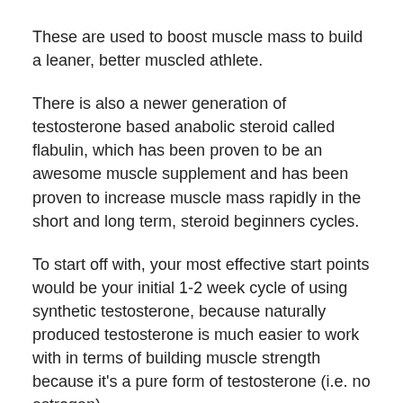These are used to boost muscle mass to build a leaner, better muscled athlete.
There is also a newer generation of testosterone based anabolic steroid called flabulin, which has been proven to be an awesome muscle supplement and has been proven to increase muscle mass rapidly in the short and long term, steroid beginners cycles.
To start off with, your most effective start points would be your initial 1-2 week cycle of using synthetic testosterone, because naturally produced testosterone is much easier to work with in terms of building muscle strength because it's a pure form of testosterone (i.e. no estrogen).
You don't need a very large amount of